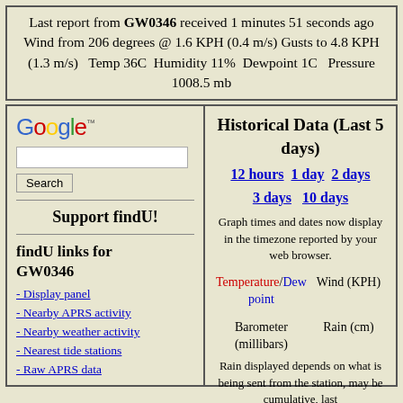Last report from GW0346 received 1 minutes 51 seconds ago Wind from 206 degrees @ 1.6 KPH (0.4 m/s) Gusts to 4.8 KPH (1.3 m/s)  Temp 36C  Humidity 11%  Dewpoint 1C  Pressure 1008.5 mb
[Figure (logo): Google logo with trademark symbol]
Support findU!
findU links for GW0346
- Display panel
- Nearby APRS activity
- Nearby weather activity
- Nearest tide stations
- Raw APRS data
Historical Data (Last 5 days)
12 hours  1 day  2 days  3 days  10 days
Graph times and dates now display in the timezone reported by your web browser.
Temperature/Dew point
Wind (KPH)
Barometer (millibars)
Rain (cm)
Rain displayed depends on what is being sent from the station, may be cumulative, last